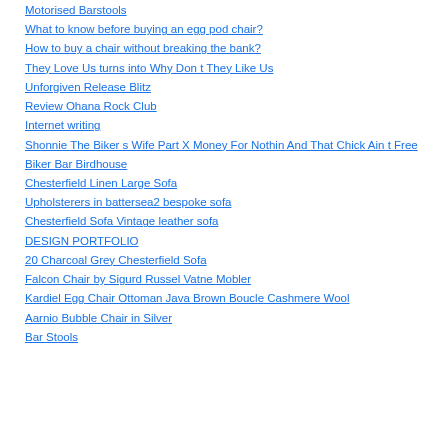Motorised Barstools
What to know before buying an egg pod chair?
How to buy a chair without breaking the bank?
They Love Us turns into Why Don t They Like Us
Unforgiven Release Blitz
Review Ohana Rock Club
Internet writing
Shonnie The Biker s Wife Part X Money For Nothin And That Chick Ain t Free
Biker Bar Birdhouse
Chesterfield Linen Large Sofa
Upholsterers in battersea2 bespoke sofa
Chesterfield Sofa Vintage leather sofa
DESIGN PORTFOLIO
20 Charcoal Grey Chesterfield Sofa
Falcon Chair by Sigurd Russel Vatne Mobler
Kardiel Egg Chair Ottoman Java Brown Boucle Cashmere Wool
Aarnio Bubble Chair in Silver
Bar Stools